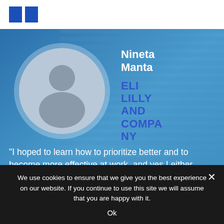[Figure (logo): Two blue square logo marks (like quotation marks) on white top bar]
[Figure (photo): Generic user profile avatar silhouette in a circular frame with light grey background, on a blue background with horizontal stripe pattern]
Nineta Manta
ELI LILLY AND COMPANY
“I hoped to learn how to prioritize better and to become more effective at work, and yes I either learned new things or better
We use cookies to ensure that we give you the best experience on our website. If you continue to use this site we will assume that you are happy with it.
Ok